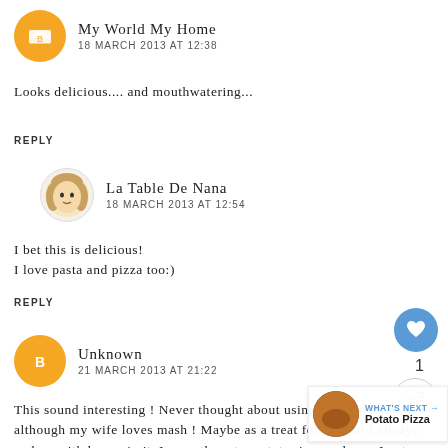My World My Home
18 MARCH 2013 AT 12:38
Looks delicious.... and mouthwatering...
REPLY
La Table De Nana
18 MARCH 2013 AT 12:54
I bet this is delicious! I love pasta and pizza too:)
REPLY
Unknown
21 MARCH 2013 AT 21:22
This sound interesting ! Never thought about using pizza before, although my wife loves mash ! Maybe as a treat for her but I always end up with lumps in it. I recently got a potato ricer and now I get perfect mash! Will try it and let you